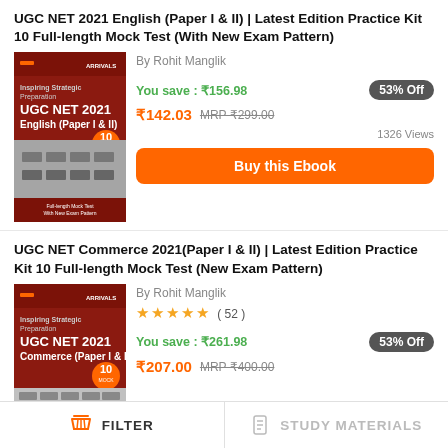UGC NET 2021 English (Paper I & II) | Latest Edition Practice Kit 10 Full-length Mock Test (With New Exam Pattern)
[Figure (photo): Book cover: UGC NET 2021 English (Paper I & II) in red with classroom image]
By Rohit Manglik
You save : ₹156.98
53% Off
₹142.03  MRP ₹299.00
1326 Views
Buy this Ebook
UGC NET Commerce 2021(Paper I & II) | Latest Edition Practice Kit 10 Full-length Mock Test (New Exam Pattern)
[Figure (photo): Book cover: UGC NET 2021 Commerce (Paper I & II) in red]
By Rohit Manglik
★★★★★ ( 52 )
You save : ₹261.98
53% Off
₹207.00  MRP ₹400.00
FILTER
STUDY MATERIALS